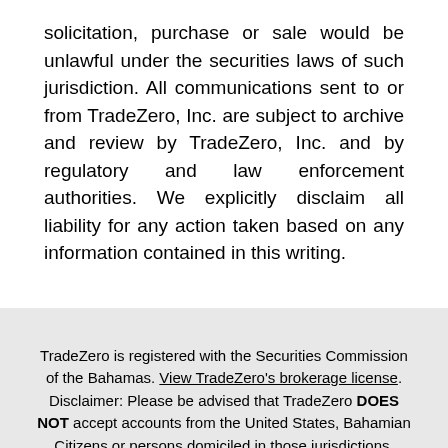solicitation, purchase or sale would be unlawful under the securities laws of such jurisdiction. All communications sent to or from TradeZero, Inc. are subject to archive and review by TradeZero, Inc. and by regulatory and law enforcement authorities. We explicitly disclaim all liability for any action taken based on any information contained in this writing.
TradeZero is registered with the Securities Commission of the Bahamas. View TradeZero's brokerage license. Disclaimer: Please be advised that TradeZero DOES NOT accept accounts from the United States, Bahamian Citizens or persons domiciled in those jurisdictions.
All levered accounts cannot hold more than 2 to 1